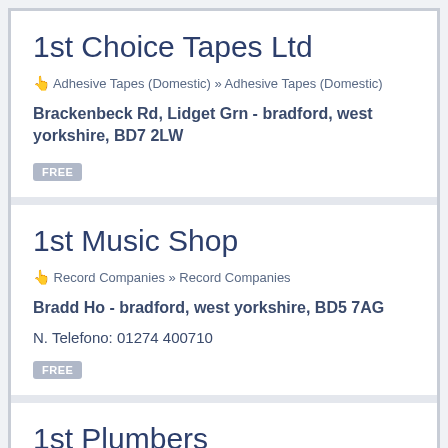1st Choice Tapes Ltd
Adhesive Tapes (Domestic) » Adhesive Tapes (Domestic)
Brackenbeck Rd, Lidget Grn - bradford, west yorkshire, BD7 2LW
FREE
1st Music Shop
Record Companies » Record Companies
Bradd Ho - bradford, west yorkshire, BD5 7AG
N. Telefono: 01274 400710
FREE
1st Plumbers
Plumbing & Heating » Plumbing & Heating